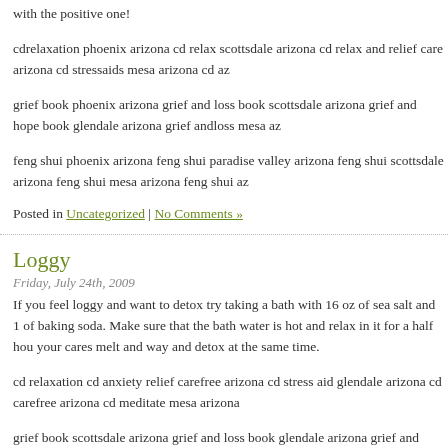with the positive one!
cdrelaxation phoenix arizona cd relax scottsdale arizona cd relax and relief care arizona cd stressaids mesa arizona cd az
grief book phoenix arizona grief and loss book scottsdale arizona grief and hope book glendale arizona grief andloss mesa az
feng shui phoenix arizona feng shui paradise valley arizona feng shui scottsdale arizona feng shui mesa arizona feng shui az
Posted in Uncategorized | No Comments »
Loggy
Friday, July 24th, 2009
If you feel loggy and want to detox try taking a bath with 16 oz of sea salt and 1 of baking soda. Make sure that the bath water is hot and relax in it for a half hou your cares melt and way and detox at the same time.
cd relaxation cd anxiety relief carefree arizona cd stress aid glendale arizona cd carefree arizona cd meditate mesa arizona
grief book scottsdale arizona grief and loss book glendale arizona grief and hope book carefree arizona grief and loss book az